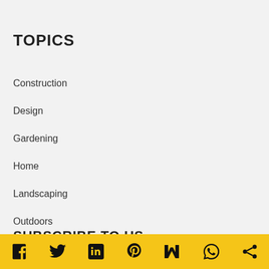TOPICS
Construction
Design
Gardening
Home
Landscaping
Outdoors
SUBSCRIBE TO US
[Figure (infographic): Yellow social media bar with icons: Facebook, Twitter, LinkedIn, Pinterest, Mix, WhatsApp, Share]